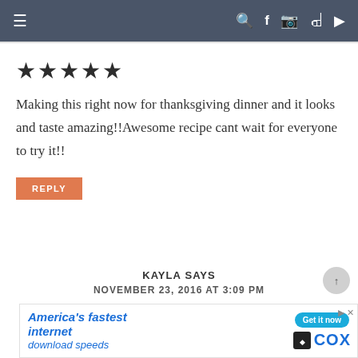≡   🔍 f 📷 p ▶
[Figure (other): Five filled star rating icons]
Making this right now for thanksgiving dinner and it looks and taste amazing!!Awesome recipe cant wait for everyone to try it!!
REPLY
KAYLA SAYS
NOVEMBER 23, 2016 AT 3:09 PM
[Figure (infographic): Cox internet advertisement banner: America's fastest internet download speeds with Get it now button and COX logo]